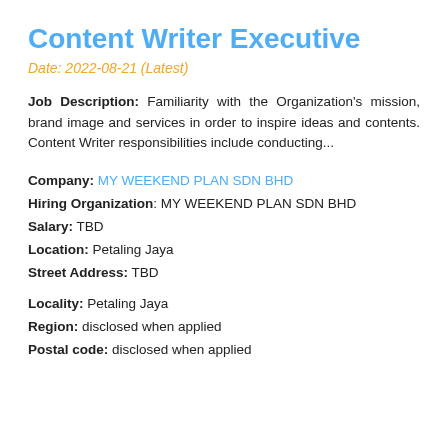Content Writer Executive
Date: 2022-08-21 (Latest)
Job Description: Familiarity with the Organization's mission, brand image and services in order to inspire ideas and contents. Content Writer responsibilities include conducting...
Company: MY WEEKEND PLAN SDN BHD
Hiring Organization: MY WEEKEND PLAN SDN BHD
Salary: TBD
Location: Petaling Jaya
Street Address: TBD
Locality: Petaling Jaya
Region: disclosed when applied
Postal code: disclosed when applied